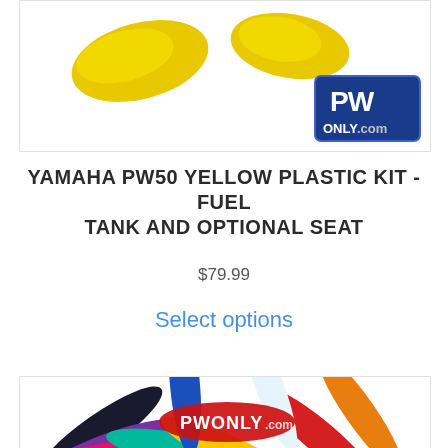[Figure (photo): Product photo showing yellow plastic kit pieces for Yamaha PW50 with PWOnly.com logo in bottom right corner]
YAMAHA PW50 YELLOW PLASTIC KIT -FUEL TANK AND OPTIONAL SEAT
$79.99
Select options
[Figure (photo): Product photo showing multiple colored seat covers fanned out in a radial pattern (blue, white, orange, red, yellow, green, teal, pink, purple, dark navy) with PWOnly.com logo in center]